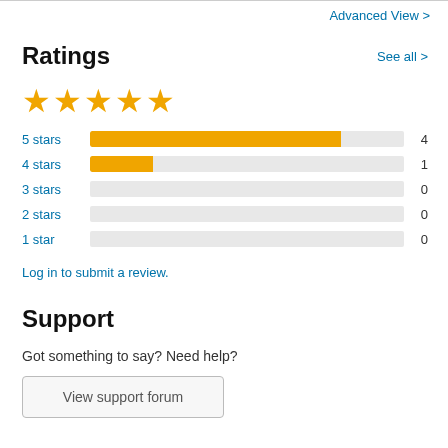Advanced View
Ratings
[Figure (other): 5 gold stars rating display]
[Figure (bar-chart): Star rating distribution]
Log in to submit a review.
Support
Got something to say? Need help?
View support forum